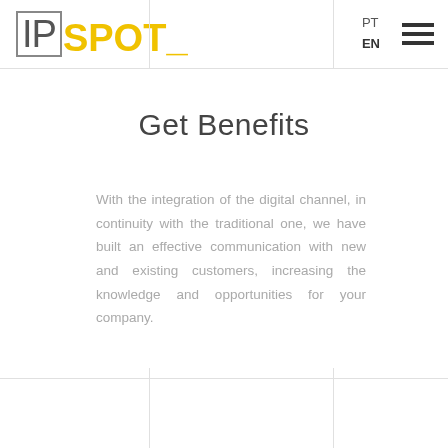IPSPOT_ | PT | EN
Get Benefits
With the integration of the digital channel, in continuity with the traditional one, we have built an effective communication with new and existing customers, increasing the knowledge and opportunities for your company.